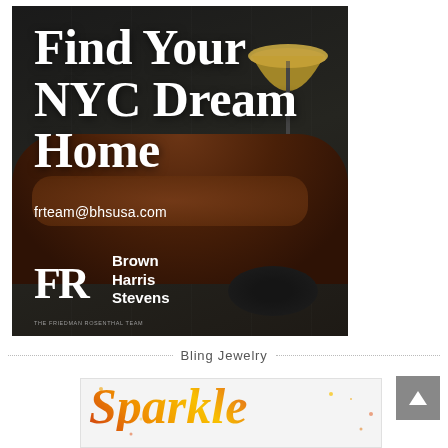[Figure (photo): Real estate advertisement showing a dark elegant interior with a leather Chesterfield sofa, floor lamp, and coffee table. Large white text overlay reading 'Find Your NYC Dream Home' with email frteam@bhsusa.com and Brown Harris Stevens logo with FR monogram.]
Bling Jewelry
[Figure (photo): Partial view of a sparkly/glittery text image reading 'Sparkle' in orange and gold gradient lettering on a light background with confetti dots.]